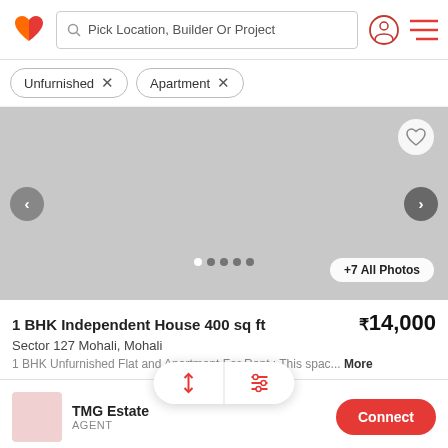[Figure (screenshot): App header with logo, search bar 'Pick Location, Builder Or Project', user icon, and hamburger menu]
Unfurnished × Apartment ×
[Figure (photo): Property image carousel showing a gray/blank image with left/right navigation arrows, heart/favorite button, dot indicators, and '+7 All Photos' button]
1 BHK Independent House 400 sq ft
₹14,000
Sector 127 Mohali, Mohali
1 BHK Unfurnished Flat and Apartment For Rent : This spac... More
TMG Estate
AGENT
Connect